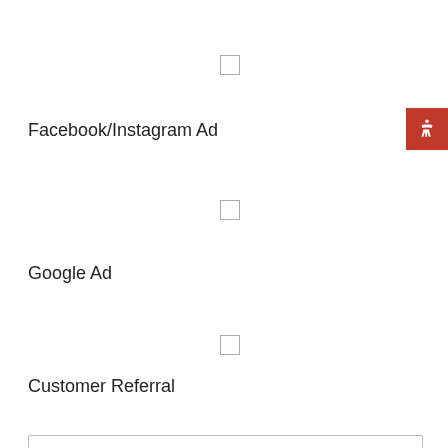Facebook/Instagram Ad
Google Ad
Customer Referral
Current Insurance Company
Date Quote Needed
If you have any other questions, comments or